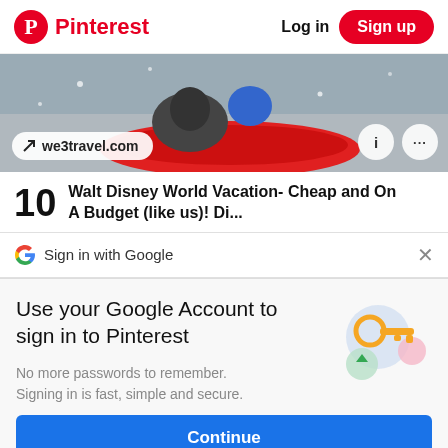Pinterest  Log in  Sign up
[Figure (photo): Child sledding in snow on a red inflatable sled, with source badge 'we3travel.com' and two icon buttons (info and more options)]
10  Walt Disney World Vacation- Cheap and On A Budget (like us)! Di...
Sign in with Google
Use your Google Account to sign in to Pinterest
No more passwords to remember. Signing in is fast, simple and secure.
[Figure (illustration): Google key illustration with colorful circular icons]
Continue